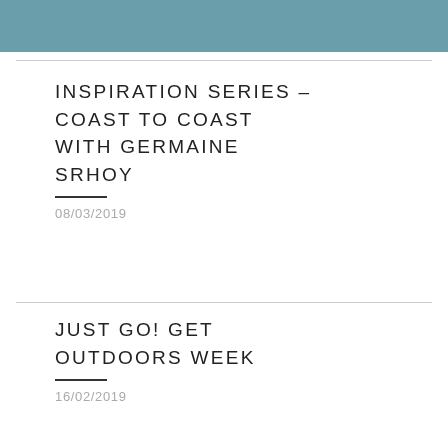[Figure (other): Teal/blue-green decorative header bar]
INSPIRATION SERIES – COAST TO COAST WITH GERMAINE SRHOY
08/03/2019
JUST GO! GET OUTDOORS WEEK
16/02/2019